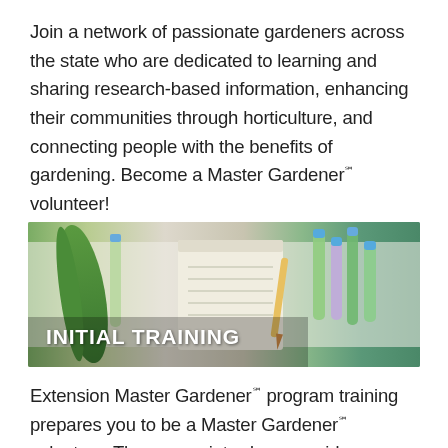Join a network of passionate gardeners across the state who are dedicated to learning and sharing research-based information, enhancing their communities through horticulture, and connecting people with the benefits of gardening. Become a Master Gardener℠ volunteer!
[Figure (photo): Banner image showing plant specimens in test tubes and a notepad, with text overlay reading INITIAL TRAINING]
Extension Master Gardener℠ program training prepares you to be a Master Gardener℠ volunteer. The course introduces a wide range of horticultural topics, with a focus on finding research-based information